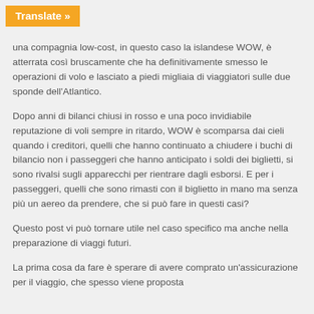[Figure (other): Orange 'Translate »' button in top-left corner]
una compagnia low-cost, in questo caso la islandese WOW, è atterrata così bruscamente che ha definitivamente smesso le operazioni di volo e lasciato a piedi migliaia di viaggiatori sulle due sponde dell'Atlantico.
Dopo anni di bilanci chiusi in rosso e una poco invidiabile reputazione di voli sempre in ritardo, WOW è scomparsa dai cieli quando i creditori, quelli che hanno continuato a chiudere i buchi di bilancio non i passeggeri che hanno anticipato i soldi dei biglietti, si sono rivalsi sugli apparecchi per rientrare dagli esborsi. E per i passeggeri, quelli che sono rimasti con il biglietto in mano ma senza più un aereo da prendere, che si può fare in questi casi?
Questo post vi può tornare utile nel caso specifico ma anche nella preparazione di viaggi futuri.
La prima cosa da fare è sperare di avere comprato un'assicurazione per il viaggio, che spesso viene proposta